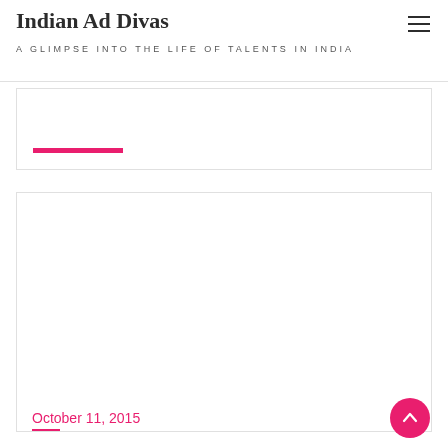Indian Ad Divas — A GLIMPSE INTO THE LIFE OF TALENTS IN INDIA
[Figure (screenshot): Partial blog post card, cut off at top, with a pink/magenta horizontal bar element visible at the bottom of the card]
[Figure (screenshot): White blog post card with empty image placeholder area]
October 11, 2015